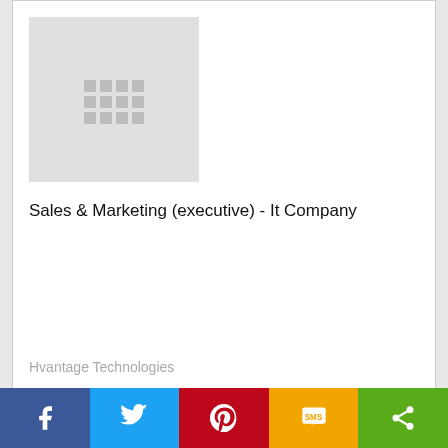[Figure (photo): Placeholder image for company logo with grid/building icon]
Sales & Marketing (executive) - It Company
Hvantage Technologies
[Figure (photo): Placeholder image for company logo with grid/building icon]
Sales & Marketing (sr.executive) - It Company
f  [twitter]  [pinterest]  SMS  [share]